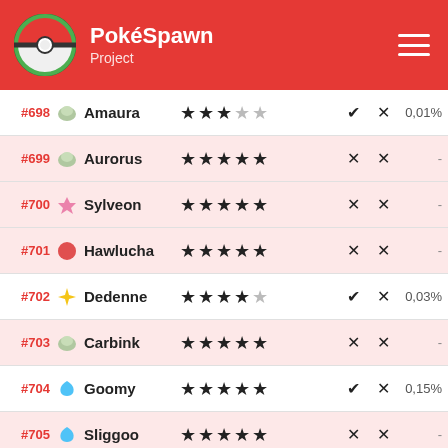PokéSpawn Project
| # | Icon | Name | Stars | ✓ | ✗ | % |
| --- | --- | --- | --- | --- | --- | --- |
| #698 | 🪨 | Amaura | ★★★☆☆ | ✔ | ✗ | 0,01% |
| #699 | 🪨 | Aurorus | ★★★★★ | ✗ | ✗ | - |
| #700 | 💎 | Sylveon | ★★★★★ | ✗ | ✗ | - |
| #701 | 🔴 | Hawlucha | ★★★★★ | ✗ | ✗ | - |
| #702 | ⚡ | Dedenne | ★★★★☆ | ✔ | ✗ | 0,03% |
| #703 | 🪨 | Carbink | ★★★★★ | ✗ | ✗ | - |
| #704 | 💧 | Goomy | ★★★★★ | ✔ | ✗ | 0,15% |
| #705 | 💧 | Sliggoo | ★★★★★ | ✗ | ✗ | - |
| #706 | 💧 | Goodra | ★★★★★ | ✗ | ✗ | - |
| #707 | 🔵 | Klefki | ★★★★★ | ✗ | ✗ | - |